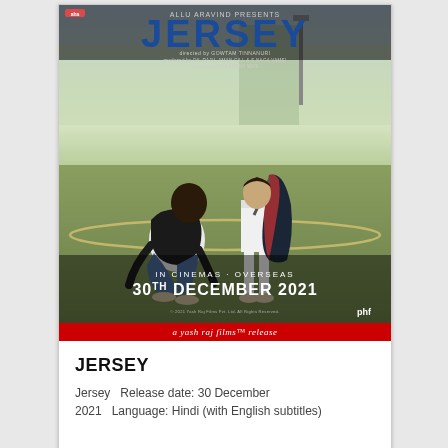[Figure (photo): Movie poster for 'Jersey' showing a man crouching down to tie the shoes of a young boy carrying a cricket bag, set on a cricket ground with a stadium in the background. Text at top reads 'ALLU ARAVIND PRESENTS' and 'JERSEY' in large bold blue letters, with credits below. At the bottom: 'IN CINEMAS · OVERSEAS 30TH DECEMBER 2021' and 'phf' logo.]
a Yash Raj Films release
JERSEY
Jersey   Release date: 30 December 2021   Language: Hindi (with English subtitles)